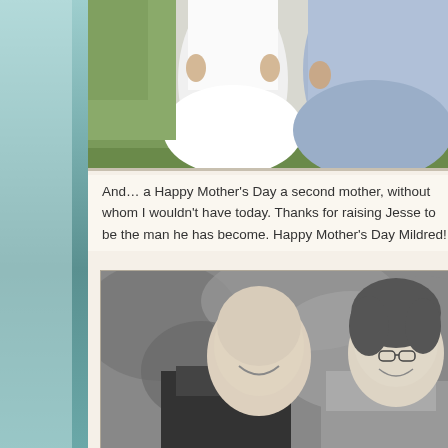[Figure (photo): Top portion of two women in formal dresses (white and light blue) standing on grass, cropped to show lower torsos and dresses only]
And… a Happy Mother's Day a second mother, without whom I wouldn't have today. Thanks for raising Jesse to be the man he has become. Happy Mother's Day Mildred!
[Figure (photo): Black and white photograph of a young man with short hair in a dark suit smiling, alongside an older woman with glasses and curly hair, appearing to be at a wedding or formal event]